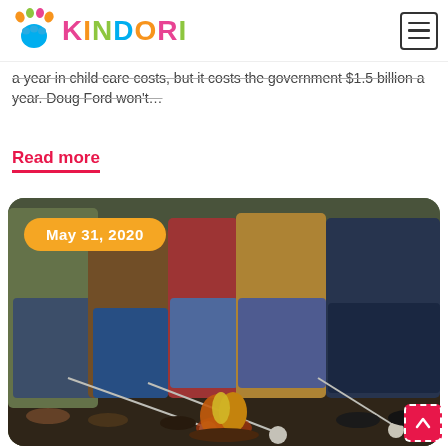KINDORI
a year in child care costs, but it costs the government $1.5 billion a year. Doug Ford won't…
Read more
[Figure (photo): Family group sitting outdoors roasting marshmallows over a campfire, with a yellow date badge overlay showing May 31, 2020]
May 31, 2020